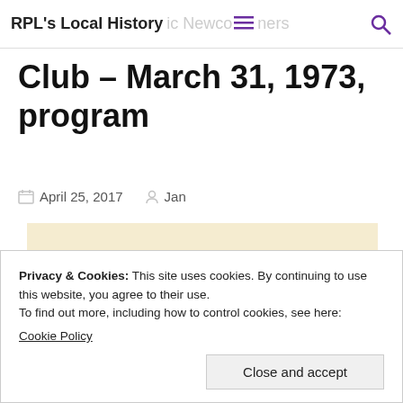RPL's Local History | Historic Newcomers Club
Club – March 31, 1973, program
April 25, 2017   Jan
[Figure (illustration): A scanned document page with a cream/yellow background and a colorful butterfly illustration (monarch-style, with black, white, orange, and red-tipped wings) in the upper right area.]
Privacy & Cookies: This site uses cookies. By continuing to use this website, you agree to their use.
To find out more, including how to control cookies, see here:
Cookie Policy
Close and accept